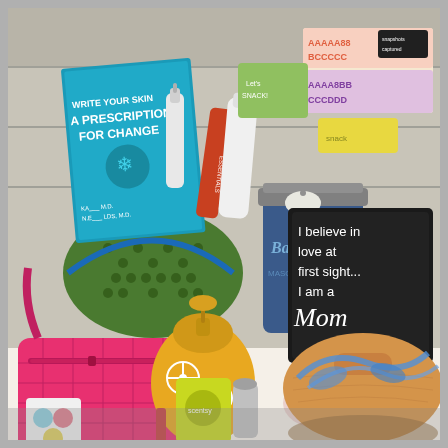[Figure (photo): A gift basket photo containing various items: a book titled 'Write Your Skin A Prescription For Change', a green patterned cosmetic bag with skincare products, a pink quilted crossbody purse, a yellow ceramic dispenser with white flower designs, a painted blue Ball mason jar, a black sign reading 'I believe in love at first sight... I am a Mom', letter sticker sheets, a wooden cutting board, blue decorative ribbon, and various other beauty and lifestyle products arranged on a floral background.]